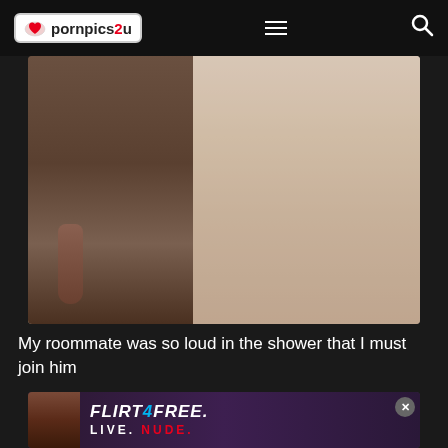pornpics2u
[Figure (photo): Two people in a shower, cropped to torso/lower body]
My roommate was so loud in the shower that I must join him
[Figure (photo): Advertisement: FLIRT4FREE - LIVE. NUDE. featuring a woman in dark clothing against purple background]